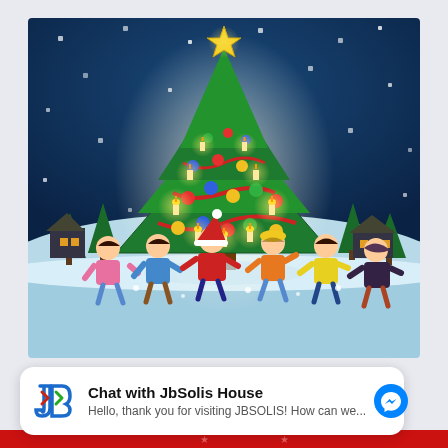[Figure (illustration): Christmas illustration showing a large decorated Christmas tree with candles and colorful ornaments, gold star on top, against a dark blue night sky with white snow dots. Six cartoon children dancing and celebrating around the base of the tree in winter clothing. Green pine trees and small houses/buildings with lit windows visible in the background. Snow on the ground.]
Chat with JbSolis House
Hello, thank you for visiting JBSOLIS! How can we...